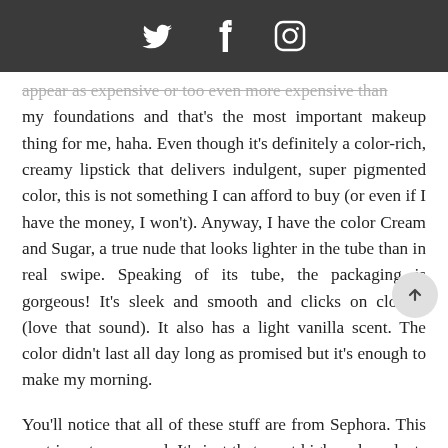[Twitter] [Facebook] [Instagram] social icons
appear as expensive or too even more expensive than my foundations and that's the most important makeup thing for me, haha. Even though it's definitely a color-rich, creamy lipstick that delivers indulgent, super pigmented color, this is not something I can afford to buy (or even if I have the money, I won't). Anyway, I have the color Cream and Sugar, a true nude that looks lighter in the tube than in real swipe. Speaking of its tube, the packaging is gorgeous! It's sleek and smooth and clicks on closing (love that sound). It also has a light vanilla scent. The color didn't last all day long as promised but it's enough to make my morning.
You'll notice that all of these stuff are from Sephora. This post is not sponsored. It's just that most high-end products in skincare and makeup can be found in this store and you can't feel ashamed joining a good